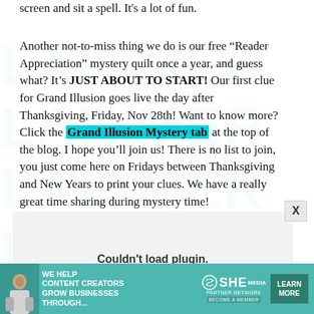screen and sit a spell.  It's a lot of fun.
Another not-to-miss thing we do is our free “Reader Appreciation” mystery quilt once a year, and guess what?  It’s JUST ABOUT TO START!  Our first clue for Grand Illusion goes live the day after Thanksgiving, Friday, Nov 28th!  Want to know more?  Click the Grand Illusion Mystery tab at the top of the blog.  I hope you’ll join us!  There is no list to join, you just come here on Fridays between Thanksgiving and New Years to print your clues.  We have a really great time sharing during mystery time!
[Figure (other): Plugin area showing 'Couldn't load plugin.' message in a grey box]
[Figure (infographic): SHE Media partner network advertisement banner: 'We help content creators grow businesses through...' with a Learn More button]